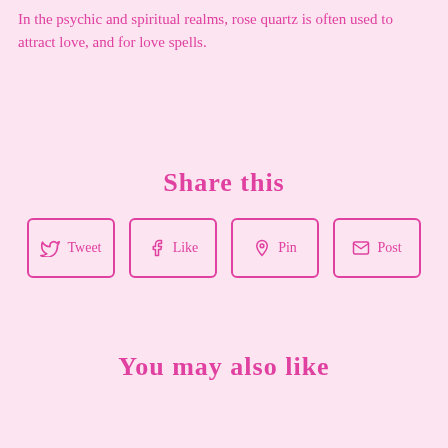In the psychic and spiritual realms, rose quartz is often used to attract love, and for love spells.
Share this
Tweet | Like | Pin | Post
You may also like